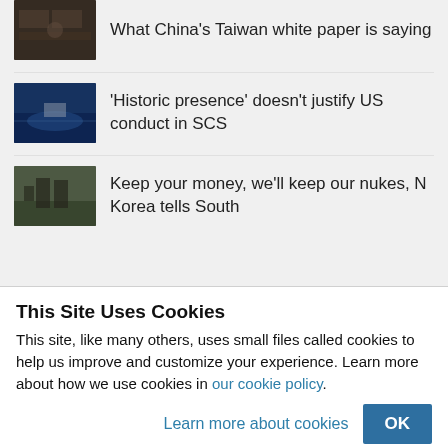What China's Taiwan white paper is saying
'Historic presence' doesn't justify US conduct in SCS
Keep your money, we'll keep our nukes, N Korea tells South
This Site Uses Cookies
This site, like many others, uses small files called cookies to help us improve and customize your experience. Learn more about how we use cookies in our cookie policy.
Learn more about cookies   OK